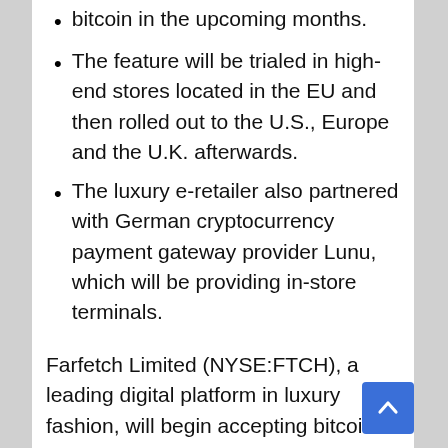bitcoin in the upcoming months.
The feature will be trialed in high-end stores located in the EU and then rolled out to the U.S., Europe and the U.K. afterwards.
The luxury e-retailer also partnered with German cryptocurrency payment gateway provider Lunu, which will be providing in-store terminals.
Farfetch Limited (NYSE:FTCH), a leading digital platform in luxury fashion, will begin accepting bitcoin and other cryptocurrencies for payment, according to a report from MarketWatch.
The acceptance of bitcoin for payment will be trialed with high-end European stores located in